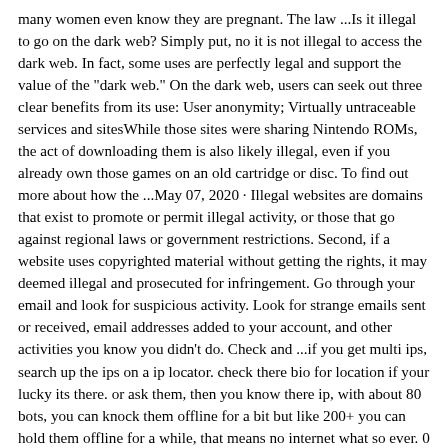many women even know they are pregnant. The law ...Is it illegal to go on the dark web? Simply put, no it is not illegal to access the dark web. In fact, some uses are perfectly legal and support the value of the "dark web." On the dark web, users can seek out three clear benefits from its use: User anonymity; Virtually untraceable services and sitesWhile those sites were sharing Nintendo ROMs, the act of downloading them is also likely illegal, even if you already own those games on an old cartridge or disc. To find out more about how the ...May 07, 2020 · Illegal websites are domains that exist to promote or permit illegal activity, or those that go against regional laws or government restrictions. Second, if a website uses copyrighted material without getting the rights, it may deemed illegal and prosecuted for infringement. Go through your email and look for suspicious activity. Look for strange emails sent or received, email addresses added to your account, and other activities you know you didn't do. Check and ...if you get multi ips, search up the ips on a ip locator. check there bio for location if your lucky its there. or ask them, then you know there ip, with about 80 bots, you can knock them offline for a bit but like 200+ you can hold them offline for a while, that means no internet what so ever. 0 useful. 0 not useful.May 07, 2020 · Illegal websites are domains that exist to promote or permit illegal activity, or those that go against regional laws or government restrictions. Second, if a website uses copyrighted material without getting the rights, it may deemed illegal and prosecuted for infringement. 3. Now that